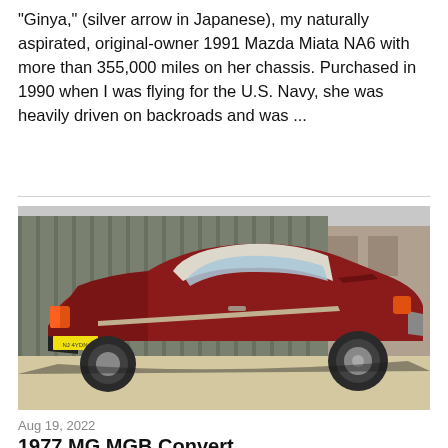"Ginya," (silver arrow in Japanese), my naturally aspirated, original-owner 1991 Mazda Miata NA6 with more than 355,000 miles on her chassis. Purchased in 1990 when I was flying for the U.S. Navy, she was heavily driven on backroads and was ...
[Figure (photo): Rear three-quarter view of a red 1977 MG MGB convertible with hardtop, parked in a driveway next to a wooden fence and urban building background.]
Aug 19, 2022
1977 MG MGB Convert